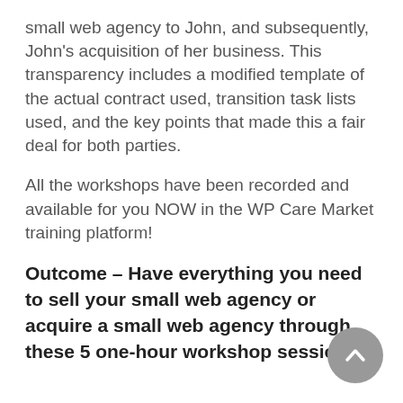small web agency to John, and subsequently, John's acquisition of her business. This transparency includes a modified template of the actual contract used, transition task lists used, and the key points that made this a fair deal for both parties.
All the workshops have been recorded and available for you NOW in the WP Care Market training platform!
Outcome – Have everything you need to sell your small web agency or acquire a small web agency through these 5 one-hour workshop sessions.